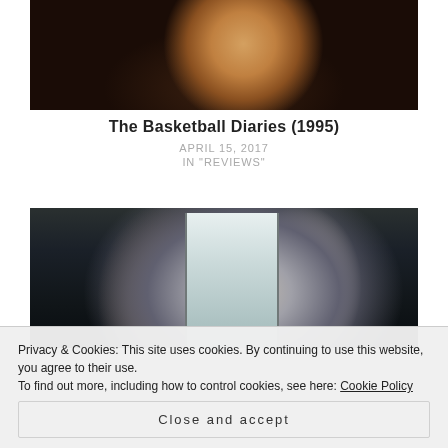[Figure (photo): Close-up movie still of a young person's face with warm orange/brown tones, from The Basketball Diaries (1995)]
The Basketball Diaries (1995)
APRIL 15, 2017
IN "REVIEWS"
[Figure (photo): Movie still showing three people standing in a doorway/hallway with dark, moody lighting]
Privacy & Cookies: This site uses cookies. By continuing to use this website, you agree to their use.
To find out more, including how to control cookies, see here: Cookie Policy
Close and accept